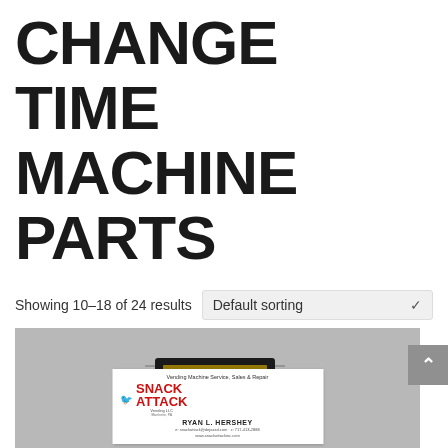CHANGE TIME MACHINE PARTS
Showing 10–18 of 24 results
[Figure (photo): A product photo showing a small integrated circuit chip (IC chip) on a gray background, with a Snack Attack Vending business card below it. The business card reads: Vending Machine Service, Sales & Repair, SNACK ATTACK Vending LLC, Manheim PA, RYAN L. HERSHEY, snackattack@dejazzd.com, 717-413-2888, www.snackattackinc.com]